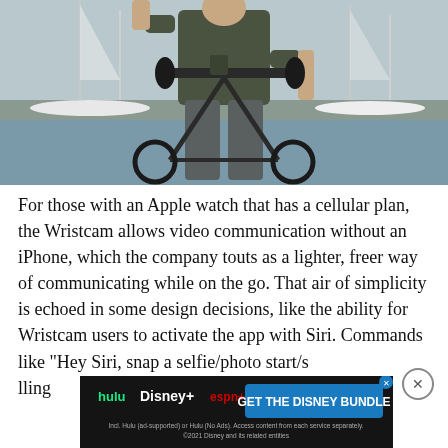[Figure (photo): A person standing with a bicycle at a marina/harbor, wearing a dark olive shirt and grey pants. Sailboats visible in background.]
For those with an Apple watch that has a cellular plan, the Wristcam allows video communication without an iPhone, which the company touts as a lighter, freer way of communicating while on the go. That air of simplicity is echoed in some design decisions, like the ability for Wristcam users to activate the app with Siri. Commands like "Hey Siri, snap a selfie/photo start/s… lling
[Figure (infographic): Advertisement banner for Disney Bundle featuring Hulu, Disney+, and ESPN+ logos with 'GET THE DISNEY BUNDLE' call to action button. Fine print: Incl. Hulu (ad-supported) or Hulu (No Ads). Access content from each service separately. ©2021 Disney and its related entities]